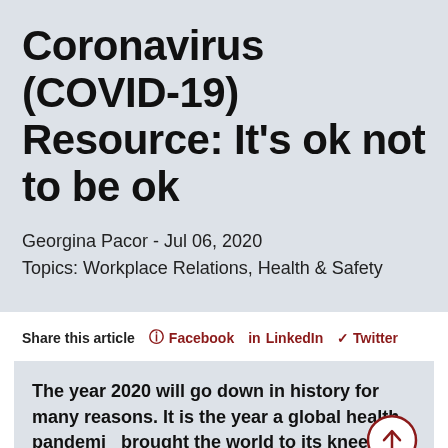Coronavirus (COVID-19) Resource: It's ok not to be ok
Georgina Pacor - Jul 06, 2020
Topics: Workplace Relations, Health & Safety
Share this article  Facebook  LinkedIn  Twitter
The year 2020 will go down in history for many reasons. It is the year a global health pandemic brought the world to its knees, a year when businesses and the lives within them have